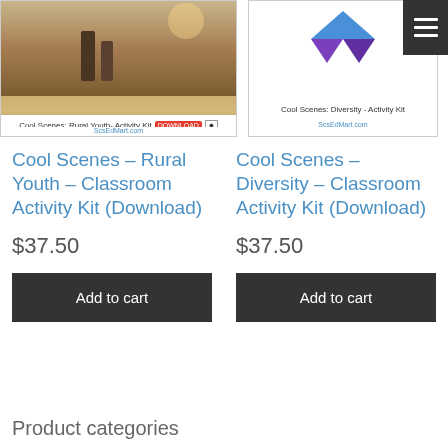[Figure (screenshot): Product thumbnail for Cool Scenes Rural Youth Activity Kit showing outdoor/rural background with text label and download badge]
[Figure (screenshot): Product thumbnail for Cool Scenes Diversity Activity Kit showing blue and purple chevron/triangle diversity icon on white background]
Cool Scenes – Rural Youth – Classroom Activity Kit (Download)
$37.50
Add to cart
Cool Scenes – Diversity – Classroom Activity Kit (Download)
$37.50
Add to cart
Product categories